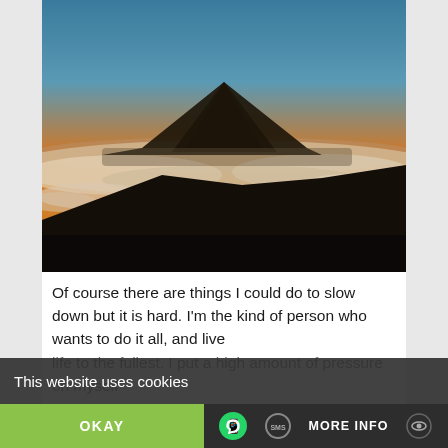[Figure (photo): Dramatic mountain peak (volcano) rising above a layer of clouds at sunset, with golden-orange sky gradient above and dark silhouetted hillside in foreground. Likely Teide or similar volcanic peak.]
Of course there are things I could do to slow down but it is hard. I'm the kind of person who wants to do it all, and live life to the fullest. I put a high amount of pressure on myself
This website uses cookies
OKAY
MORE INFO